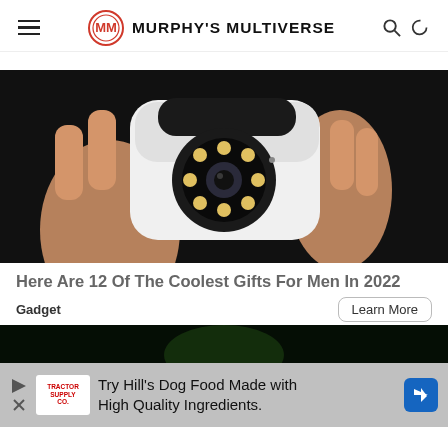Murphy's Multiverse
[Figure (photo): A hand holding a small white security camera with LED lights around the lens, against a dark background.]
Here Are 12 Of The Coolest Gifts For Men In 2022
Gadget
[Figure (photo): Partial view of a dark image, bottom portion of article, green-tinted.]
Try Hill's Dog Food Made with High Quality Ingredients.